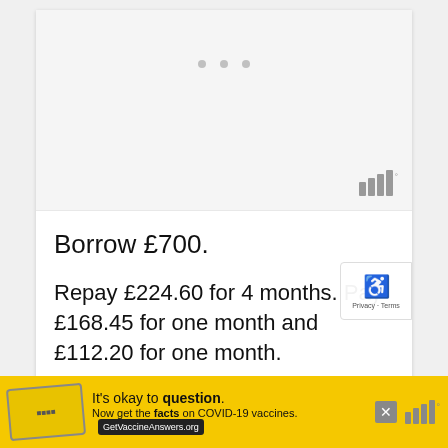[Figure (screenshot): Gray placeholder image area at top of page with three small dots and a logo watermark at bottom right]
Borrow £700.
Repay £224.60 for 4 months. Pay £168.45 for one month and £112.20 for one month.
The representative APR is 295.58%.
This has been confirmed from £115.71%
[Figure (screenshot): Yellow advertisement banner: It's okay to question. Now get the facts on COVID-19 vaccines. GetVaccineAnswers.org]